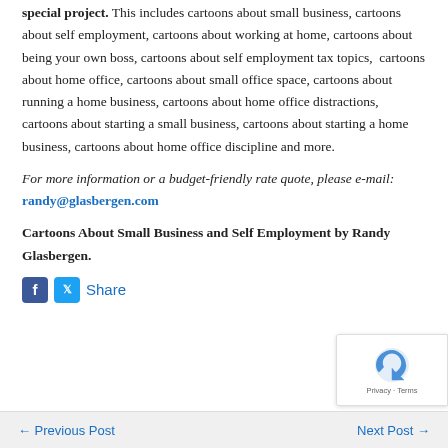special project. This includes cartoons about small business, cartoons about self employment, cartoons about working at home, cartoons about being your own boss, cartoons about self employment tax topics,  cartoons about home office, cartoons about small office space, cartoons about running a home business, cartoons about home office distractions, cartoons about starting a small business, cartoons about starting a home business, cartoons about home office discipline and more.
For more information or a budget-friendly rate quote, please e-mail: randy@glasbergen.com
Cartoons About Small Business and Self Employment by Randy Glasbergen.
Share
← Previous Post    Next Post →